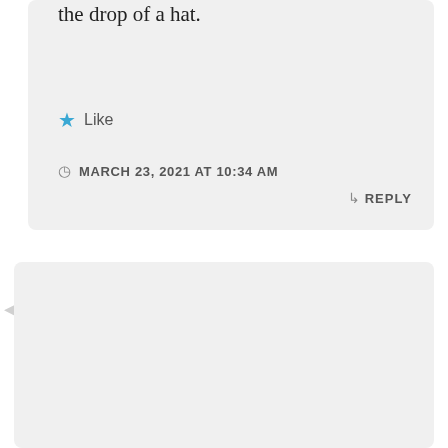the drop of a hat.
★ Like
MARCH 23, 2021 AT 10:34 AM
↳ REPLY
bakerbalham
Coral,
Yet another delightful look at a “backwater” of Australian life. Nice to see a few remnants of the